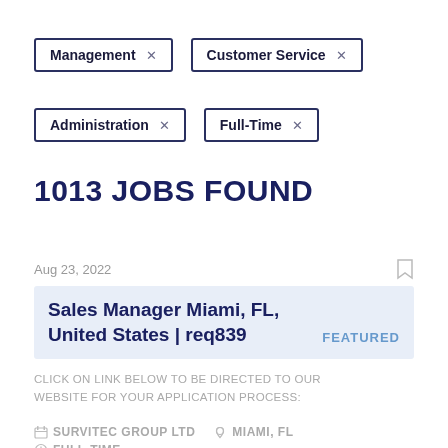Management ×
Customer Service ×
Administration ×
Full-Time ×
1013 JOBS FOUND
Aug 23, 2022
Sales Manager Miami, FL, United States | req839
FEATURED
CLICK ON LINK BELOW TO BE DIRECTED TO OUR WEBSITE FOR YOUR APPLICATION PROCESS:
SURVITEC GROUP LTD  MIAMI, FL  FULL-TIME